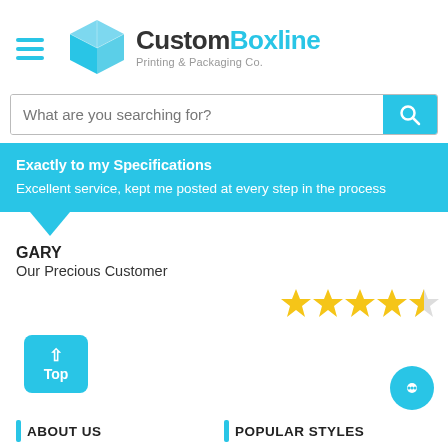[Figure (logo): CustomBoxline logo with cyan 3D box icon and text 'CustomBoxline Printing & Packaging Co.']
What are you searching for?
Exactly to my Specifications
Excellent service, kept me posted at every step in the process
GARY
Our Precious Customer
[Figure (infographic): 4.5 star rating shown as yellow stars]
[Figure (infographic): Cyan 'Top' button with up caret]
ABOUT US   POPULAR STYLES